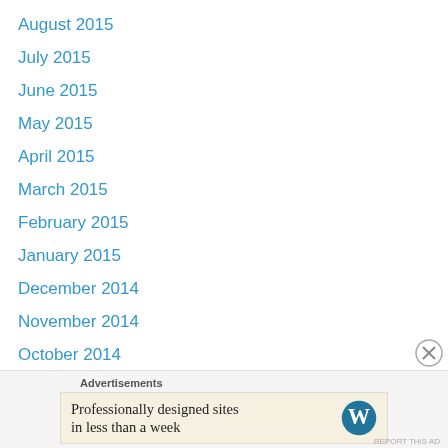August 2015
July 2015
June 2015
May 2015
April 2015
March 2015
February 2015
January 2015
December 2014
November 2014
October 2014
September 2014
August 2014
July 2014
June 2014
May 2014
Advertisements
Professionally designed sites in less than a week